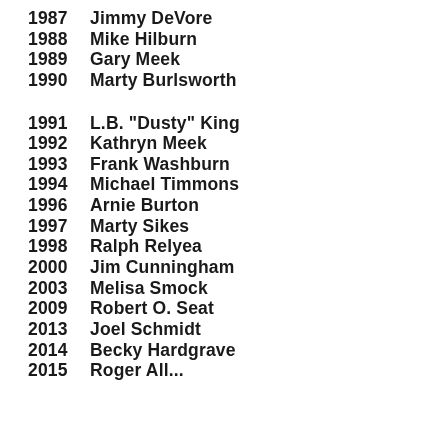1987  Jimmy DeVore
1988  Mike Hilburn
1989  Gary Meek
1990  Marty Burlsworth
1991  L.B. "Dusty" King
1992  Kathryn Meek
1993  Frank Washburn
1994  Michael Timmons
1996  Arnie Burton
1997  Marty Sikes
1998  Ralph Relyea
2000  Jim Cunningham
2003  Melisa Smock
2009  Robert O. Seat
2013  Joel Schmidt
2014  Becky Hardgrave
2015  Roger Allen